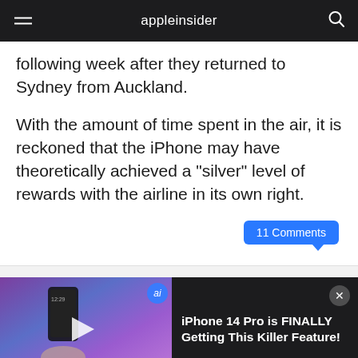appleinsider
following week after they returned to Sydney from Auckland.
With the amount of time spent in the air, it is reckoned that the iPhone may have theoretically achieved a "silver" level of rewards with the airline in its own right.
11 Comments
[Figure (screenshot): Video thumbnail for 'iPhone 14 Pro is FINALLY Getting This Killer Feature!' showing a hand holding an iPhone against a purple/blue background, with a play button, 'FINALLY!' text overlay, and an 'ai' badge.]